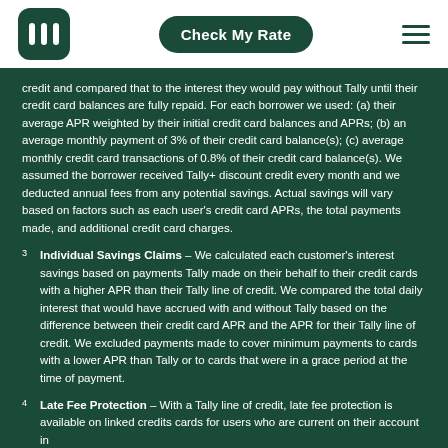Check My Rate
credit and compared that to the interest they would pay without Tally until their credit card balances are fully repaid. For each borrower we used: (a) their average APR weighted by their initial credit card balances and APRs; (b) an average monthly payment of 3% of their credit card balance(s); (c) average monthly credit card transactions of 0.8% of their credit card balance(s). We assumed the borrower received Tally+ discount credit every month and we deducted annual fees from any potential savings. Actual savings will vary based on factors such as each user's credit card APRs, the total payments made, and additional credit card charges.
3 Individual Savings Claims – We calculated each customer's interest savings based on payments Tally made on their behalf to their credit cards with a higher APR than their Tally line of credit. We compared the total daily interest that would have accrued with and without Tally based on the difference between their credit card APR and the APR for their Tally line of credit. We excluded payments made to cover minimum payments to cards with a lower APR than Tally or to cards that were in a grace period at the time of payment.
4 Late Fee Protection – With a Tally line of credit, late fee protection is available on linked credits cards for users who are current on their account in...